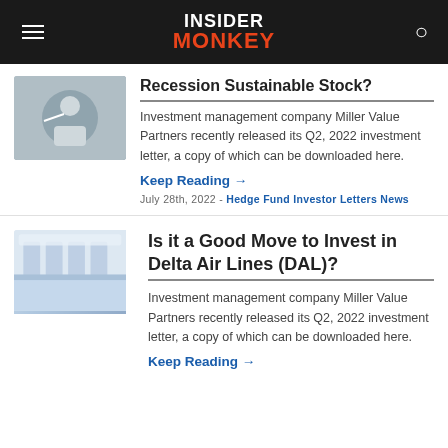INSIDER MONKEY
Recession Sustainable Stock?
Investment management company Miller Value Partners recently released its Q2, 2022 investment letter, a copy of which can be downloaded here.
Keep Reading →
July 28th, 2022 - Hedge Fund Investor Letters News
Is it a Good Move to Invest in Delta Air Lines (DAL)?
Investment management company Miller Value Partners recently released its Q2, 2022 investment letter, a copy of which can be downloaded here.
Keep Reading →